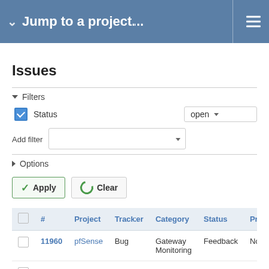Jump to a project...
Issues
Filters
Status: open
Add filter
Options
Apply  Clear
|  | # | Project | Tracker | Category | Status | Prior |
| --- | --- | --- | --- | --- | --- | --- |
|  | 11960 | pfSense | Bug | Gateway Monitoring | Feedback | Norm |
|  | 11956 | pfSense | Feature | Web Interface | New | Norm |